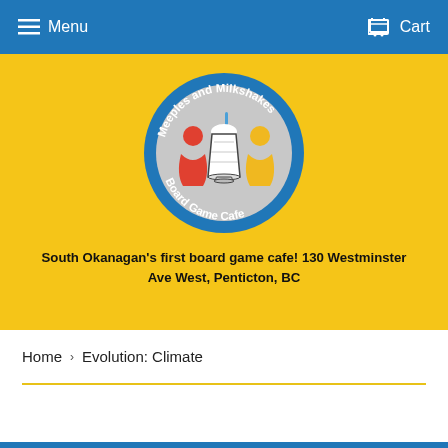Menu   Cart
[Figure (logo): Meeples and Milkshakes Board Game Cafe circular logo with blue border, grey interior, featuring a red meeple, a milkshake glass, and a yellow meeple]
South Okanagan's first board game cafe! 130 Westminster Ave West, Penticton, BC
Home  >  Evolution: Climate